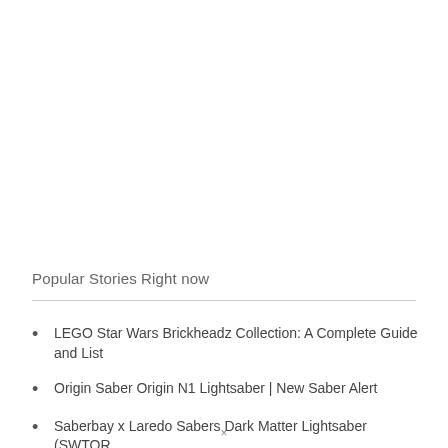Popular Stories Right now
LEGO Star Wars Brickheadz Collection: A Complete Guide and List
Origin Saber Origin N1 Lightsaber | New Saber Alert
Saberbay x Laredo Sabers Dark Matter Lightsaber (SWTOR